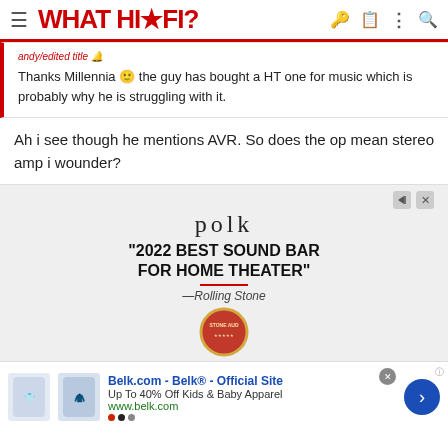WHAT HI-FI?
Thanks Millennia 🙂 the guy has bought a HT one for music which is probably why he is struggling with it.
Ah i see though he mentions AVR. So does the op mean stereo amp i wounder?
[Figure (infographic): Polk audio advertisement: '2022 BEST SOUND BAR FOR HOME THEATER' — Rolling Stone, with Polk logo and award badge]
[Figure (infographic): Belk.com advertisement: 'Belk.com - Belk® - Official Site', Up To 40% Off Kids & Baby Apparel, www.belk.com, with product images and navigation arrow]